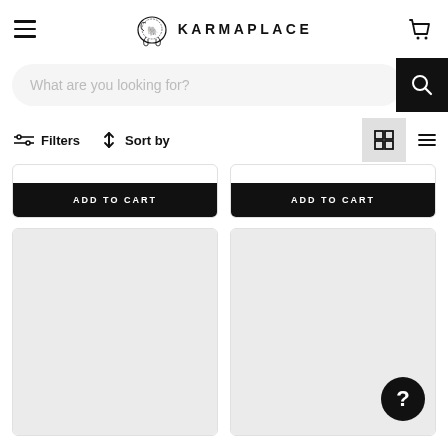[Figure (screenshot): KarmaPlace e-commerce website screenshot showing header with hamburger menu, elephant logo, KARMAPLACE text, cart icon, search bar, My Favorites sidebar tab, Filters and Sort by toolbar with grid/list view toggles, two product cards with ADD TO CART buttons (partially visible at top), and two product card placeholders (grey image areas) below.]